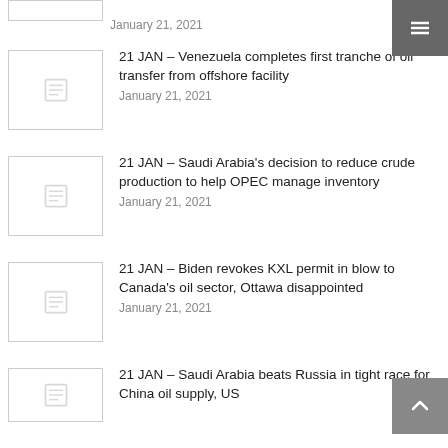January 21, 2021
21 JAN – Venezuela completes first tranche of oil transfer from offshore facility
January 21, 2021
21 JAN – Saudi Arabia's decision to reduce crude production to help OPEC manage inventory
January 21, 2021
21 JAN – Biden revokes KXL permit in blow to Canada's oil sector, Ottawa disappointed
January 21, 2021
21 JAN – Saudi Arabia beats Russia in tight race for China oil supply, US